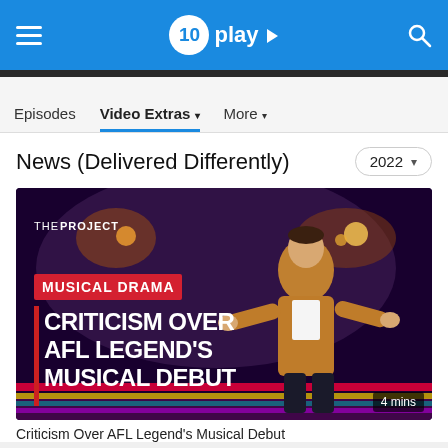10 play
Episodes  Video Extras  More
News (Delivered Differently)
[Figure (screenshot): Video thumbnail from The Project showing a man in a tan jacket gesturing with his arms in a theatre setting. Text overlay reads: THE PROJECT / MUSICAL DRAMA / CRITICISM OVER AFL LEGEND'S MUSICAL DEBUT. Duration badge shows 4 mins.]
Criticism Over AFL Legend's Musical Debut